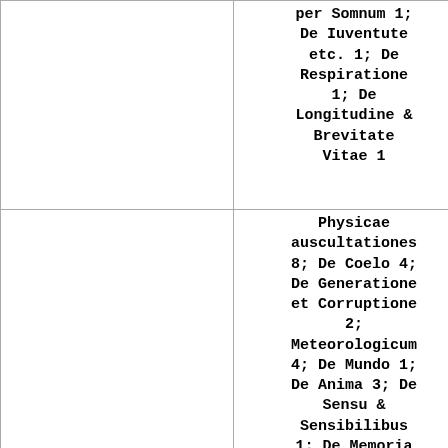|  | per Somnum 1; De Iuventute etc. 1; De Respiratione 1; De Longitudine & Brevitate Vitae 1 |
|  | Physicae auscultationes 8; De Coelo 4; De Generatione et Corruptione 2; Meteorologicum 4; De Mundo 1; De Anima 3; De Sensu & Sensibilibus 1; De Memoria et |
| Q    Aristotle |  |